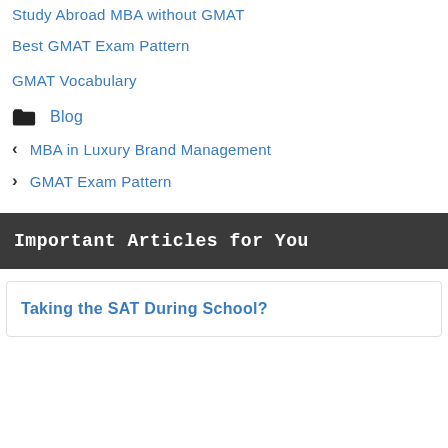Study Abroad MBA without GMAT
Best GMAT Exam Pattern
GMAT Vocabulary
Blog
MBA in Luxury Brand Management
GMAT Exam Pattern
Important Articles for You
Taking the SAT During School?